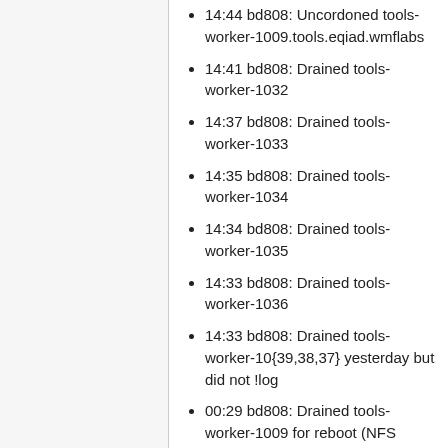14:44 bd808: Uncordoned tools-worker-1009.tools.eqiad.wmflabs
14:41 bd808: Drained tools-worker-1032
14:37 bd808: Drained tools-worker-1033
14:35 bd808: Drained tools-worker-1034
14:34 bd808: Drained tools-worker-1035
14:33 bd808: Drained tools-worker-1036
14:33 bd808: Drained tools-worker-10{39,38,37} yesterday but did not !log
00:29 bd808: Drained tools-worker-1009 for reboot (NFS flakey)
00:11 bd808: Uncordoned tools-worker-1009.tools.eqiad.wmflabs